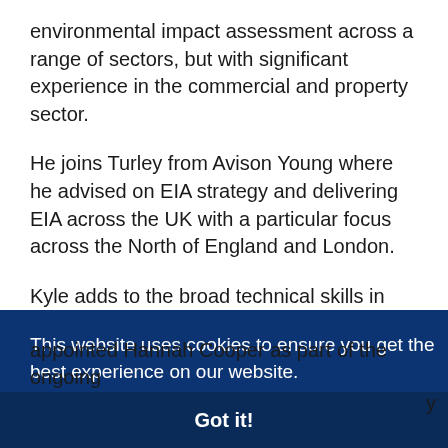environmental impact assessment across a range of sectors, but with significant experience in the commercial and property sector.
He joins Turley from Avison Young where he advised on EIA strategy and delivering EIA across the UK with a particular focus across the North of England and London.
Kyle adds to the broad technical skills in Turley's EIA team. He is also a member of the Institute of
MA)'s
is
nal
y
appointed Hannah Cooper as part of the ongoing
This website uses cookies to ensure you get the best experience on our website. Learn more
Got it!